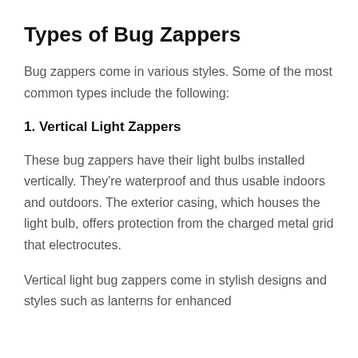Types of Bug Zappers
Bug zappers come in various styles. Some of the most common types include the following:
1. Vertical Light Zappers
These bug zappers have their light bulbs installed vertically. They're waterproof and thus usable indoors and outdoors. The exterior casing, which houses the light bulb, offers protection from the charged metal grid that electrocutes.
Vertical light bug zappers come in stylish designs and styles such as lanterns for enhanced